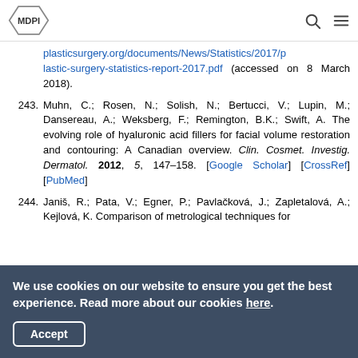MDPI
plasticsurgery.org/documents/News/Statistics/2017/plastic-surgery-statistics-report-2017.pdf (accessed on 8 March 2018).
243. Muhn, C.; Rosen, N.; Solish, N.; Bertucci, V.; Lupin, M.; Dansereau, A.; Weksberg, F.; Remington, B.K.; Swift, A. The evolving role of hyaluronic acid fillers for facial volume restoration and contouring: A Canadian overview. Clin. Cosmet. Investig. Dermatol. 2012, 5, 147–158. [Google Scholar] [CrossRef] [PubMed]
244. Janiš, R.; Pata, V.; Egner, P.; Pavlačková, J.; Zapletalová, A.; Kejlová, K. Comparison of metrological techniques for
We use cookies on our website to ensure you get the best experience. Read more about our cookies here. Accept